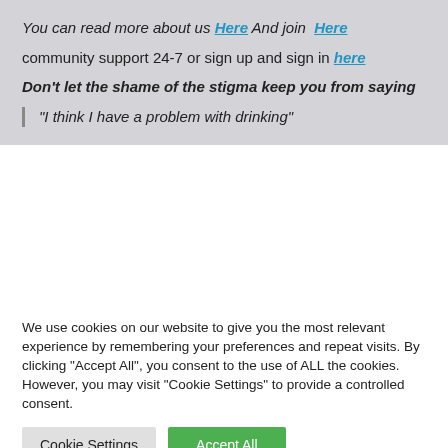You can read more about us Here And join Here
community support 24-7 or sign up and sign in here
Don't let the shame of the stigma keep you from saying
“I think I have a problem with drinking”
We use cookies on our website to give you the most relevant experience by remembering your preferences and repeat visits. By clicking “Accept All”, you consent to the use of ALL the cookies. However, you may visit “Cookie Settings” to provide a controlled consent.